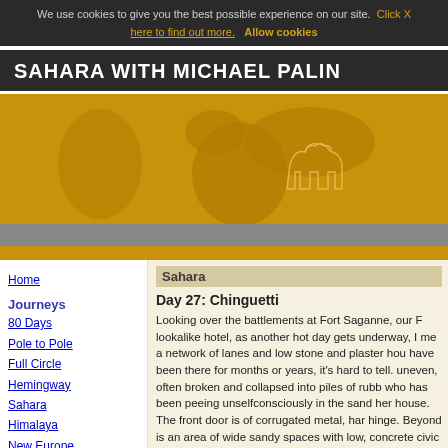We use cookies to give you the best possible experience on our site. Click X here to find out more. Allow cookies
SAHARA WITH MICHAEL PALIN
[Figure (illustration): A golden/orange world map banner illustration showing continents in silhouette with a camel outline, used as a decorative website header background.]
Home
Journeys
80 Days
Pole to Pole
Full Circle
Hemingway
Sahara
Himalaya
New Europe
80 Days Revisited
Brazil
Photography
Photo Gallery
Search Facilities
Keyword Search
Photo Search
Sahara
Day 27: Chinguetti
Looking over the battlements at Fort Saganne, our F lookalike hotel, as another hot day gets underway, I me a network of lanes and low stone and plaster hou have been there for months or years, it's hard to tell. uneven, often broken and collapsed into piles of rubb who has been peeing unselfconsciously in the sand her house. The front door is of corrugated metal, har hinge. Beyond is an area of wide sandy spaces with low, concrete civic buildings. To one side stands the electricity generating station, its walls punctured by R twenty-three years ago and still unrepaired. But a ha beyond all that, stretched across a low hill and borde trees, old Chinguetti, with its assortment of towers a walls, stands out handsomely, like a mediaeval hill to
From the battlements of Fort Saganne, Chinguetti, s